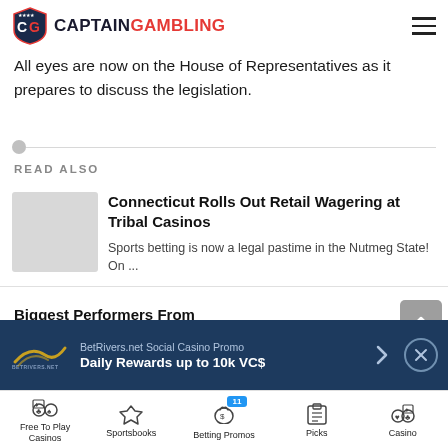CaptainGambling
All eyes are now on the House of Representatives as it prepares to discuss the legislation.
READ ALSO
Connecticut Rolls Out Retail Wagering at Tribal Casinos
Sports betting is now a legal pastime in the Nutmeg State! On ...
Biggest Performers From
[Figure (screenshot): BetRivers.net promotional ad banner: 'BetRivers.net Social Casino Promo / Daily Rewards up to 10k VC$']
Free To Play Casinos | Sportsbooks | Betting Promos (11) | Picks | Casino